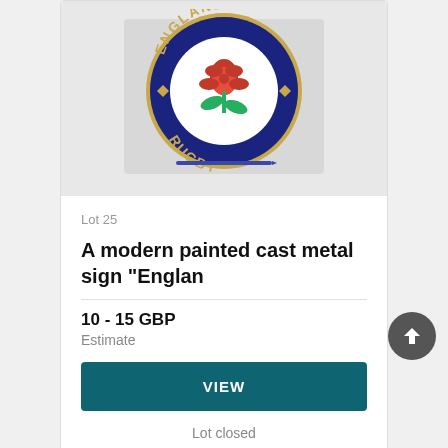[Figure (photo): England Rugby circular enamel badge/sign with navy blue border showing 'ENGLAND' at top and 'RUGBY' at bottom, white center with red rose and green leaves, gold trim. A pen visible at the bottom for scale.]
Lot 25
A modern painted cast metal sign "Englan
10 - 15 GBP
Estimate
VIEW
Lot closed
Lot location: CIRENCESTER, Gloucestershire
[Figure (photo): Partial view of another auction lot item at the bottom of the page.]